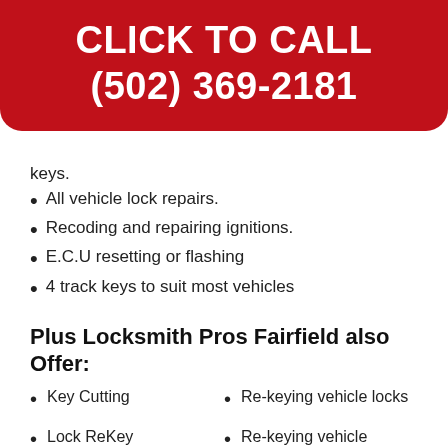CLICK TO CALL
(502) 369-2181
keys.
All vehicle lock repairs.
Recoding and repairing ignitions.
E.C.U resetting or flashing
4 track keys to suit most vehicles
Plus Locksmith Pros Fairfield also Offer:
Key Cutting
Re-keying vehicle locks
Lock ReKey
Re-keying vehicle ignitions